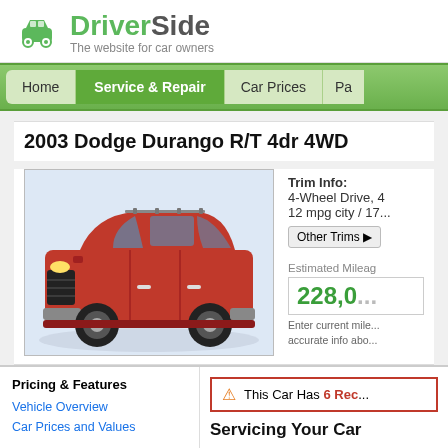[Figure (logo): DriverSide logo with green car icon and text 'DriverSide - The website for car owners']
Home | Service & Repair | Car Prices | Pa...
2003 Dodge Durango R/T 4dr 4WD
[Figure (photo): Red 2003 Dodge Durango R/T 4WD SUV on white background, three-quarter front view]
Trim Info:
4-Wheel Drive, 4
12 mpg city / 17...
Other Trims ▶
Estimated Mileage
228,0...
Enter current mile... accurate info abo...
Pricing & Features
Vehicle Overview
Car Prices and Values
⚠ This Car Has 6 Rec...
Servicing Your Car